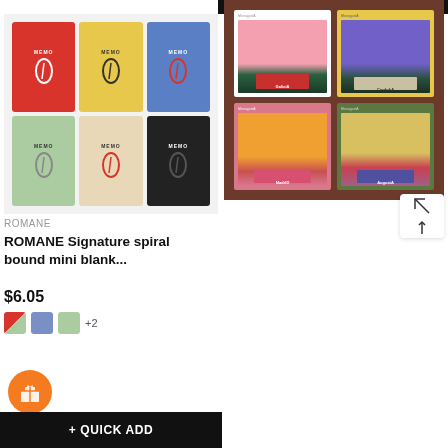[Figure (photo): ROMANE Signature spiral bound mini blank notebooks in 6 colors (red, yellow, blue, light green, beige, black) with paperclip design on white background]
ROMANE
ROMANE Signature spiral bound mini blank...
$6.05
[Figure (photo): ROMANE MonagustA spiral bound lined notebooks in 4 designs (Galicia, Cordoba, Madrid, Augusta) on brown background]
ROMANE
ROMANE MonagustA spiral bound lined...
$6.55
+ QUICK ADD
+ QUICK ADD